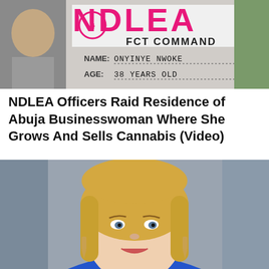[Figure (photo): NDLEA FCT Command arrest photo showing a person with a sign reading: NDLEA FCT COMMAND, NAME: ONYINYE NWOKE, AGE: 38 YEARS OLD]
NDLEA Officers Raid Residence of Abuja Businesswoman Where She Grows And Sells Cannabis (Video)
[Figure (photo): Portrait photo of a blonde woman wearing a blue jacket and gold earrings, smiling at the camera]
20 Things About The New Prime Minister Of UK, Liz T...